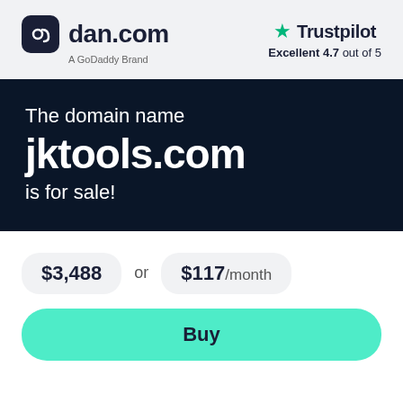[Figure (logo): dan.com logo with dark rounded square icon and text, A GoDoddy Brand subtitle]
[Figure (logo): Trustpilot logo with green star, Excellent 4.7 out of 5]
The domain name jktools.com is for sale!
$3,488 or $117/month
Buy